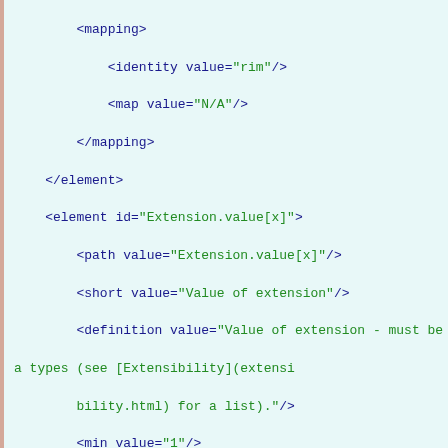XML/FHIR code snippet showing element definitions including mapping, element, path, short, definition, min, max, base, type, constraint elements